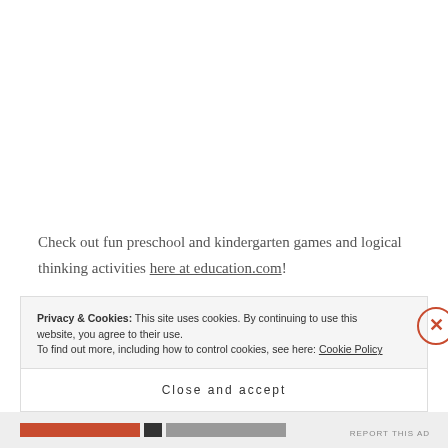Check out fun preschool and kindergarten games and logical thinking activities here at education.com!
Show your kids more examples of optical illusions here at Optics For Kids.
Artists sometimes use optical illusions to make some really cool images.  My favorite is the sidewalk artist Julian Beever
Privacy & Cookies: This site uses cookies. By continuing to use this website, you agree to their use.
To find out more, including how to control cookies, see here: Cookie Policy
Close and accept